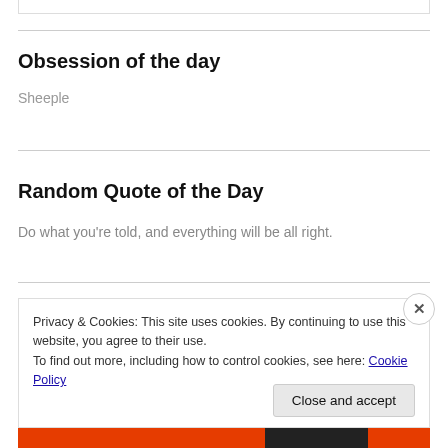Obsession of the day
Sheeple
Random Quote of the Day
Do what you’re told, and everything will be all right.
Privacy & Cookies: This site uses cookies. By continuing to use this website, you agree to their use.
To find out more, including how to control cookies, see here: Cookie Policy
Close and accept